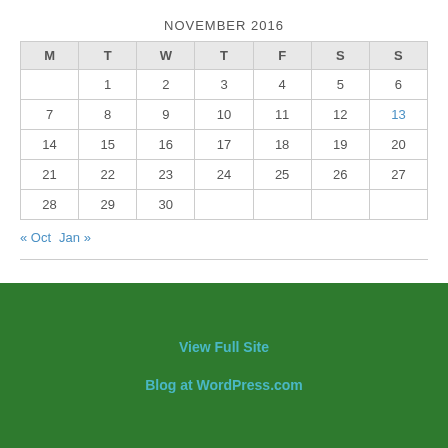NOVEMBER 2016
| M | T | W | T | F | S | S |
| --- | --- | --- | --- | --- | --- | --- |
|  | 1 | 2 | 3 | 4 | 5 | 6 |
| 7 | 8 | 9 | 10 | 11 | 12 | 13 |
| 14 | 15 | 16 | 17 | 18 | 19 | 20 |
| 21 | 22 | 23 | 24 | 25 | 26 | 27 |
| 28 | 29 | 30 |  |  |  |  |
« Oct   Jan »
View Full Site
Blog at WordPress.com